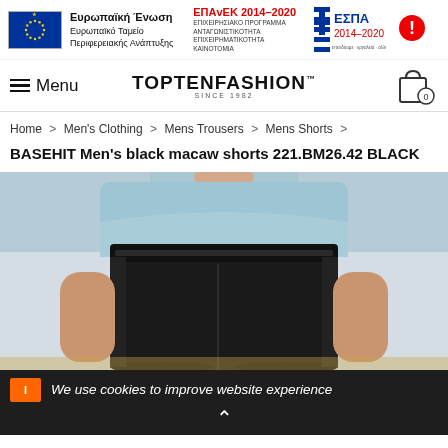[Figure (logo): EU flag and funding logos: Ευρωπαϊκή Ένωση, ΕΠΑvΕΚ 2014-2020, ΕΣΠΑ 2014-2020]
TopTenFashion SINCE 1982 — Menu navigation bar with cart icon
Home > Men's Clothing > Mens Trousers > Mens Shorts > BASEHIT Men's black macaw shorts 221.BM26.42 BLACK
[Figure (photo): Product photo of BASEHIT black shorts on a person, cropped to torso area]
We use cookies to improve website experience